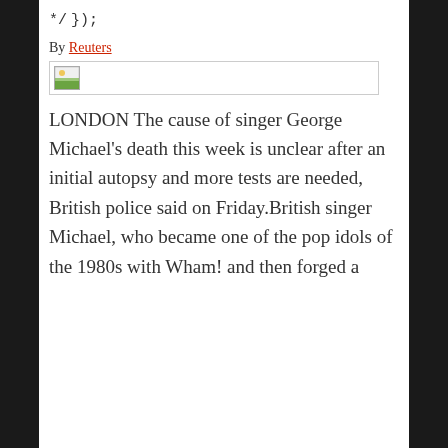*/
});
By Reuters
[Figure (photo): Broken/missing image placeholder with small landscape icon]
LONDON The cause of singer George Michael's death this week is unclear after an initial autopsy and more tests are needed, British police said on Friday.British singer Michael, who became one of the pop idols of the 1980s with Wham! and then forged a